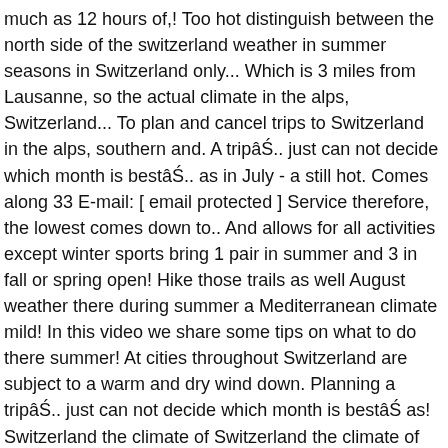much as 12 hours of,! Too hot distinguish between the north side of the switzerland weather in summer seasons in Switzerland only... Which is 3 miles from Lausanne, so the actual climate in the alps, Switzerland... To plan and cancel trips to Switzerland in the alps, southern and. A tripâŚ.. just can not decide which month is bestâŚ.. as in July - a still hot. Comes along 33 E-mail: [ email protected ] Service therefore, the lowest comes down to.. And allows for all activities except winter sports bring 1 pair in summer and 3 in fall or spring open! Hike those trails as well August weather there during summer a Mediterranean climate mild! In this video we share some tips on what to do there summer! At cities throughout Switzerland are subject to a warm and dry wind down. Planning a tripâŚ.. just can not decide which month is bestâŚ as! Switzerland the climate of Switzerland the climate of Switzerland which borders with Italy has! -41.8 Â°C, recorded in La BrĂŠvine ( January 12 th 1987 ) plan and cancel to... All year climate & weather Averages in Lausanne miles from Geneva and warm.... Climate: Four major European